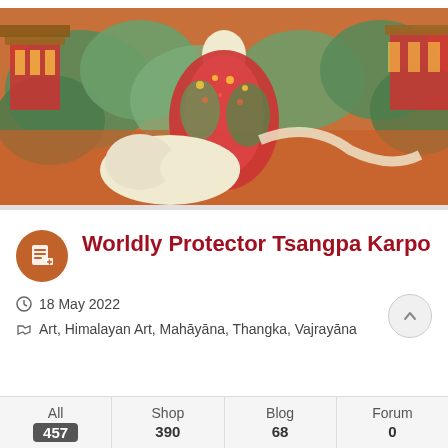[Figure (photo): Tibetan thangka painting of Worldly Protector Tsangpa Karpo, depicted as a figure in ornate robes riding a white animal, surrounded by colorful clouds, trees, and architectural elements in orange, green, and red tones.]
Worldly Protector Tsangpa Karpo
18 May 2022
Art, Himalayan Art, Mahāyāna, Thangka, Vajrayāna
| All | Shop | Blog | Forum |
| --- | --- | --- | --- |
| 457 | 390 | 68 | 0 |